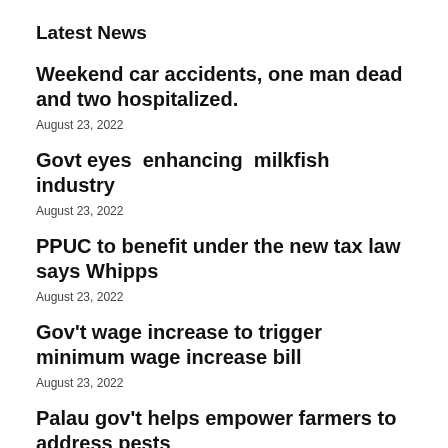Latest News
Weekend car accidents, one man dead and two hospitalized.
August 23, 2022
Govt eyes  enhancing  milkfish industry
August 23, 2022
PPUC to benefit under the new tax law says Whipps
August 23, 2022
Gov't wage increase to trigger minimum wage increase bill
August 23, 2022
Palau gov't helps empower farmers to address pests